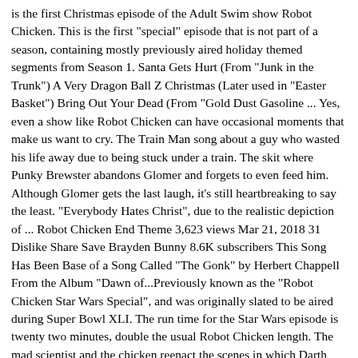is the first Christmas episode of the Adult Swim show Robot Chicken. This is the first "special" episode that is not part of a season, containing mostly previously aired holiday themed segments from Season 1. Santa Gets Hurt (From "Junk in the Trunk") A Very Dragon Ball Z Christmas (Later used in "Easter Basket") Bring Out Your Dead (From "Gold Dust Gasoline ... Yes, even a show like Robot Chicken can have occasional moments that make us want to cry. The Train Man song about a guy who wasted his life away due to being stuck under a train. The skit where Punky Brewster abandons Glomer and forgets to even feed him. Although Glomer gets the last laugh, it's still heartbreaking to say the least. "Everybody Hates Christ", due to the realistic depiction of ... Robot Chicken End Theme 3,623 views Mar 21, 2018 31 Dislike Share Save Brayden Bunny 8.6K subscribers This Song Has Been Base of a Song Called "The Gonk" by Herbert Chappell From the Album "Dawn of...Previously known as the "Robot Chicken Star Wars Special", and was originally slated to be aired during Super Bowl XLI. The run time for the Star Wars episode is twenty two minutes, double the usual Robot Chicken length. The mad scientist and the chicken reenact the scenes in which Darth Vader is "born" at the beginning of the episode.When JummBox has focus (click on its interface above), you can use these keyboard shortcuts: Spacebar: play or pause the song. Shift Spacebar: play from mouse location. Z: undo, Y or Shift Z: redo. C: copy pattern from selection. V: paste pattern into selection. 0-9: assign pattern number to selection. A: rearrange, randomize. Read Book 34...